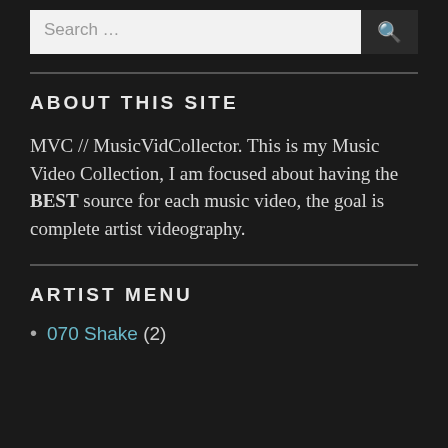[Figure (screenshot): Search bar with text 'Search ...' and a search icon button on dark background]
ABOUT THIS SITE
MVC // MusicVidCollector. This is my Music Video Collection, I am focused about having the BEST source for each music video, the goal is complete artist videography.
ARTIST MENU
070 Shake (2)